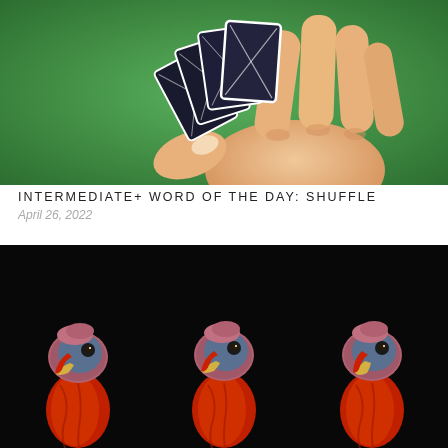[Figure (photo): A hand holding a fan of playing cards against a bright green background, viewed from above. The back of the playing cards are dark with white borders.]
INTERMEDIATE+ WORD OF THE DAY: SHUFFLE
April 26, 2022
[Figure (photo): Three turkey heads with bright red necks/wattles against a black background, facing forward. Their faces show blue-grey coloring with yellow beaks.]